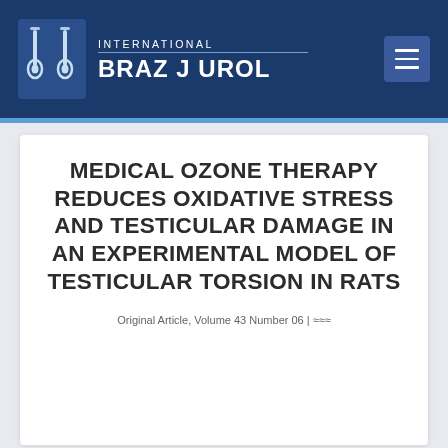[Figure (logo): International Braz J Urol journal logo with two test tube / instrument icons on a dark navy background, with navigation menu button]
MEDICAL OZONE THERAPY REDUCES OXIDATIVE STRESS AND TESTICULAR DAMAGE IN AN EXPERIMENTAL MODEL OF TESTICULAR TORSION IN RATS
Original Article, Volume 43 Number 06 |